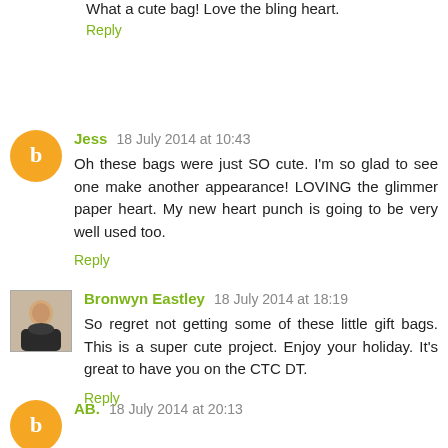What a cute bag! Love the bling heart.
Reply
Jess 18 July 2014 at 10:43
Oh these bags were just SO cute. I'm so glad to see one make another appearance! LOVING the glimmer paper heart. My new heart punch is going to be very well used too.
Reply
Bronwyn Eastley 18 July 2014 at 18:19
So regret not getting some of these little gift bags. This is a super cute project. Enjoy your holiday. It's great to have you on the CTC DT.
Reply
AB. 18 July 2014 at 20:13